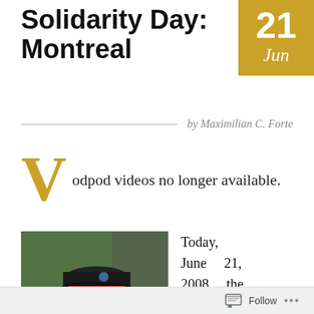Solidarity Day: Montreal
[Figure (other): Date badge showing 21 Jun in gold/yellow background]
by Maximilian C. Forte
Vodpod videos no longer available.
[Figure (photo): Photo of a person wearing a black cap with a blue badge and red clothing, outdoors at an event]
Today, June 21, 2008, the first day of summer,
Follow ...